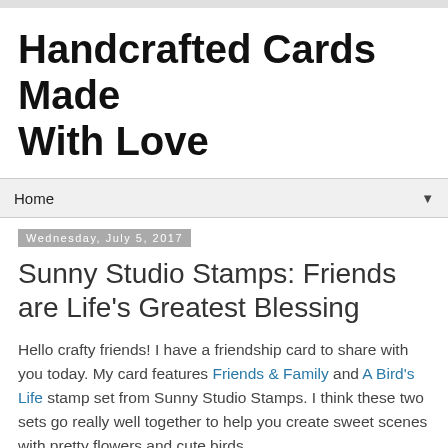Handcrafted Cards Made With Love
Home
Wednesday, July 5, 2017
Sunny Studio Stamps: Friends are Life's Greatest Blessing
Hello crafty friends! I have a friendship card to share with you today. My card features Friends & Family and A Bird's Life stamp set from Sunny Studio Stamps. I think these two sets go really well together to help you create sweet scenes with pretty flowers and cute birds.
[Figure (photo): Partially visible image at bottom of page, likely a handcrafted card]